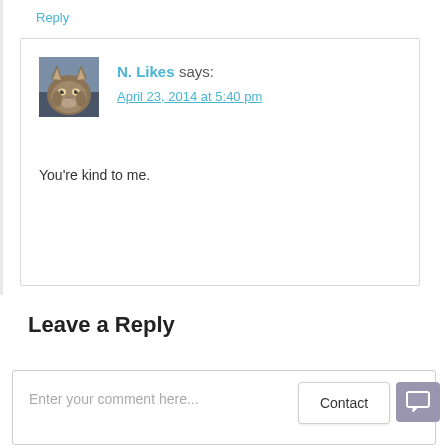Reply
N. Likes says:
April 23, 2014 at 5:40 pm
You're kind to me.
Reply
Leave a Reply
Enter your comment here...